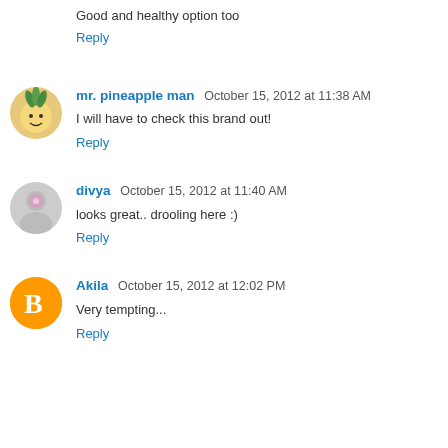Good and healthy option too
Reply
mr. pineapple man  October 15, 2012 at 11:38 AM
I will have to check this brand out!
Reply
divya  October 15, 2012 at 11:40 AM
looks great.. drooling here :)
Reply
Akila  October 15, 2012 at 12:02 PM
Very tempting...
Reply